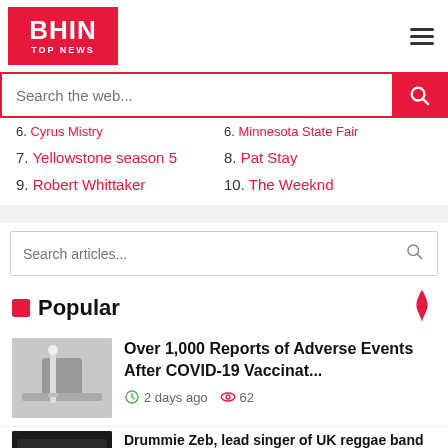BHIN TOP NEWS
6. Cyrus Mistry
6. Minnesota State Fair
7. Yellowstone season 5
8. Pat Stay
9. Robert Whittaker
10. The Weeknd
Popular
Over 1,000 Reports of Adverse Events After COVID-19 Vaccinat...
2 days ago  62
Drummie Zeb, lead singer of UK reggae band